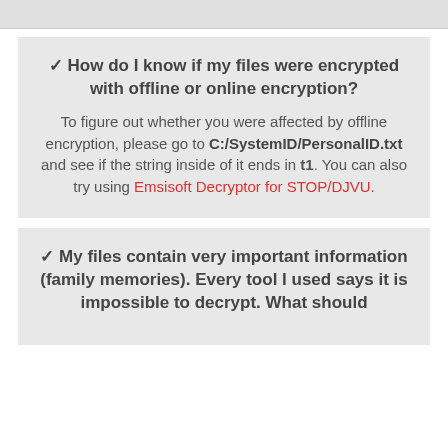✓ How do I know if my files were encrypted with offline or online encryption?
To figure out whether you were affected by offline encryption, please go to C:/SystemID/PersonalID.txt and see if the string inside of it ends in t1. You can also try using Emsisoft Decryptor for STOP/DJVU.
✓ My files contain very important information (family memories). Every tool I used says it is impossible to decrypt. What should I do?